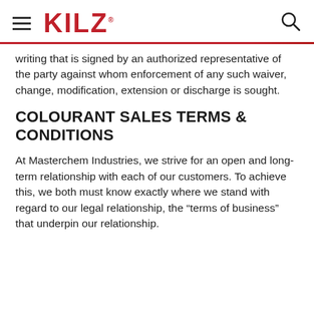KILZ
writing that is signed by an authorized representative of the party against whom enforcement of any such waiver, change, modification, extension or discharge is sought.
COLOURANT SALES TERMS & CONDITIONS
At Masterchem Industries, we strive for an open and long-term relationship with each of our customers. To achieve this, we both must know exactly where we stand with regard to our legal relationship, the “terms of business” that underpin our relationship.